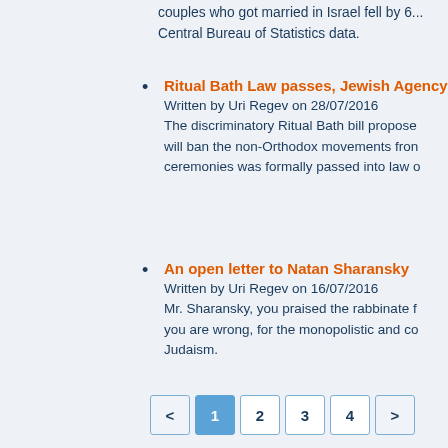couples who got married in Israel fell by 6... Central Bureau of Statistics data.
Ritual Bath Law passes, Jewish Agency — Written by Uri Regev on 28/07/2016 — The discriminatory Ritual Bath bill proposed will ban the non-Orthodox movements from ceremonies was formally passed into law o
An open letter to Natan Sharansky — Written by Uri Regev on 16/07/2016 — Mr. Sharansky, you praised the rabbinate f you are wrong, for the monopolistic and co Judaism.
< 1 2 3 4 >
Take Action!